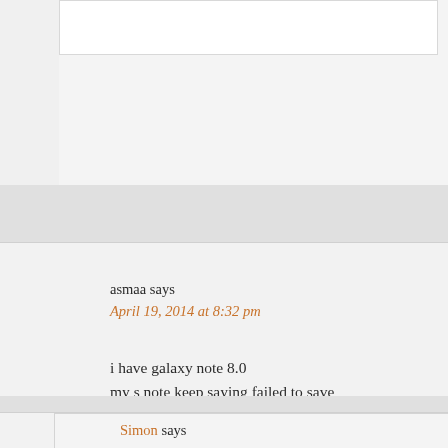asmaa says
April 19, 2014 at 8:32 pm
i have galaxy note 8.0
my s note keep saying failed to save document , i don`t know why
Reply
Simon says